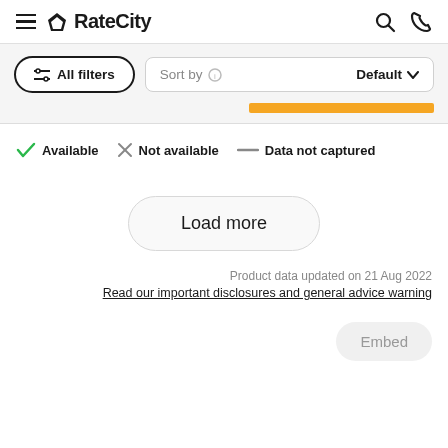RateCity
All filters | Sort by Default
Available  Not available  Data not captured
Load more
Product data updated on 21 Aug 2022
Read our important disclosures and general advice warning
Embed